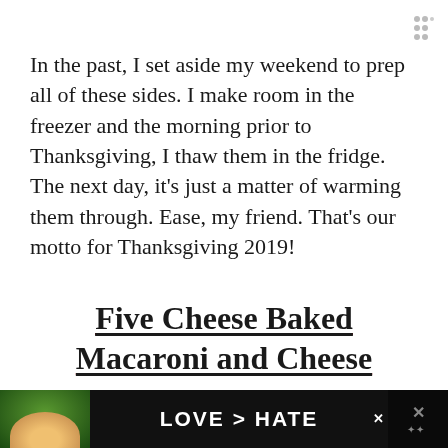In the past, I set aside my weekend to prep all of these sides. I make room in the freezer and the morning prior to Thanksgiving, I thaw them in the fridge. The next day, it’s just a matter of warming them through. Ease, my friend. That’s our motto for Thanksgiving 2019!
Five Cheese Baked Macaroni and Cheese
[Figure (photo): A photo of a dish, partially visible, with a blurred background showing warm food tones. An advertisement banner at the bottom shows hands making a heart shape with text LOVE > HATE on a dark background.]